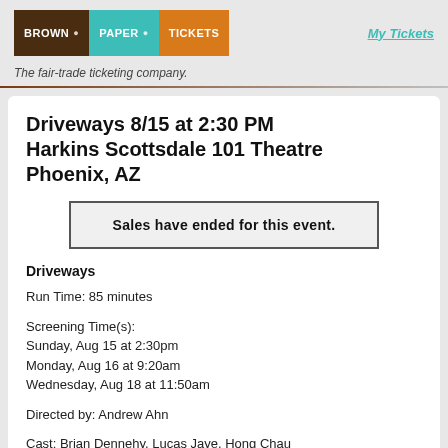Brown Paper Tickets — My Tickets
The fair-trade ticketing company.
Driveways 8/15 at 2:30 PM Harkins Scottsdale 101 Theatre Phoenix, AZ
Sales have ended for this event.
Driveways
Run Time: 85 minutes
Screening Time(s):
Sunday, Aug 15 at 2:30pm
Monday, Aug 16 at 9:20am
Wednesday, Aug 18 at 11:50am
Directed by: Andrew Ahn
Cast: Brian Dennehy, Lucas Jaye, Hong Chau
Synopsis: A lonesome boy (Lucas Jaye) accompanies his mother (Hong